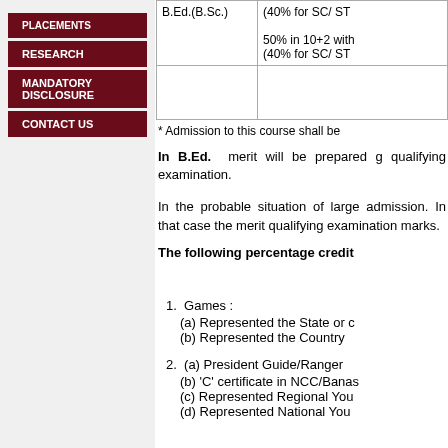PLACEMENTS
RESEARCH
MANDATORY DISCLOSURE
CONTACT US
| Course | Eligibility |
| --- | --- |
| B.Ed.(B.Sc.) | (40% for SC/ ST)
50% in 10+2 with
(40% for SC/ ST |
* Admission to this course shall be
In B.Ed. merit will be prepared g qualifying examination.
In the probable situation of large admission. In that case the merit qualifying examination marks.
The following percentage credit
1. Games :
(a) Represented the State or c
(b) Represented the Country
2. (a) President Guide/Ranger
(b) 'C' certificate in NCC/Banas
(c) Represented Regional You
(d) Represented National You